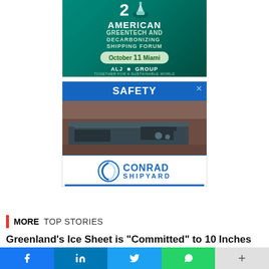[Figure (illustration): American Greentech and Decarbonizing Shipping Forum advertisement. Shows the number 2, a cruise ship icon, and text: AMERICAN GREENTECH AND DECARBONIZING SHIPPING FORUM, October 11 Miami, ALJ Group. Green teal background.]
[Figure (illustration): Conrad Shipyard safety advertisement. Blue header with SAFETY text and X close button. Aerial photo of a barge vessel. Conrad Shipyard logo with circular icon at bottom.]
MORE TOP STORIES
Greenland's Ice Sheet is "Committed" to 10 Inches of Sea
[Figure (other): Social media sharing bar with Facebook, LinkedIn, Twitter, WhatsApp, and plus/share buttons.]